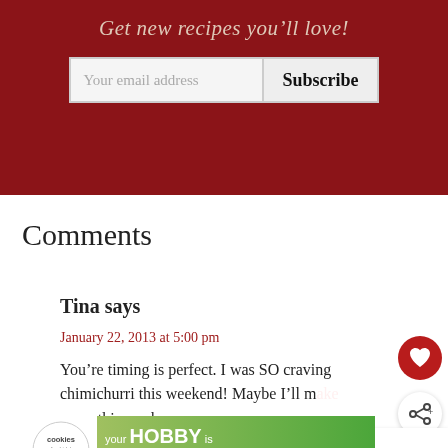Get new recipes you'll love!
Your email address  Subscribe
Comments
Tina says
January 22, 2013 at 5:00 pm
You're timing is perfect. I was SO craving chimichurri this weekend! Maybe I'll make some this week.
[Figure (infographic): Red circular heart/favorite button icon]
[Figure (infographic): Share button icon]
[Figure (infographic): What's Next arrow banner with Peach Pork Tenderloin... text and food image thumbnail]
[Figure (infographic): Advertisement banner: cookies for kids' cancer - your HOBBY is their HOPE]